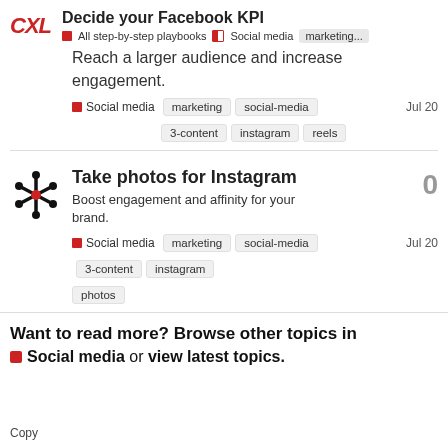CXL — Decide your Facebook KPI | All step-by-step playbooks | Social media | marketing...
Reach a larger audience and increase engagement.
Social media  marketing  social-media  Jul 20
3-content  instagram  reels
Take photos for Instagram
Boost engagement and affinity for your brand.
Social media  marketing  social-media  Jul 20
3-content  instagram
photos
Want to read more? Browse other topics in
Social media or view latest topics.
Copy